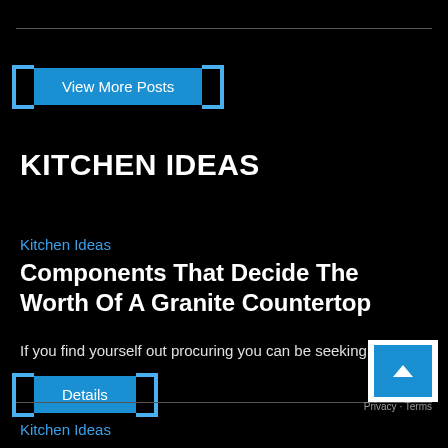View More Posts
KITCHEN IDEAS
Kitchen Ideas
Components That Decide The Worth Of A Granite Countertop
If you find yourself out procuring you can be seeking...
Details
Kitchen Ideas